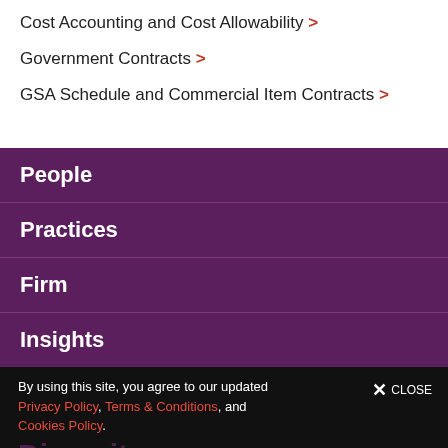Cost Accounting and Cost Allowability >
Government Contracts >
GSA Schedule and Commercial Item Contracts >
People
Practices
Firm
Insights
By using this site, you agree to our updated Privacy Policy, Terms & Conditions, and Cookies Policy.